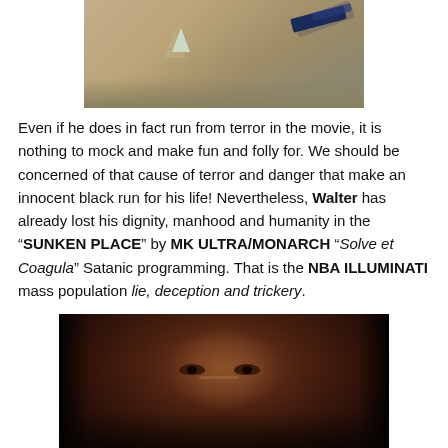[Figure (photo): Top portion of a photo showing what appears to be a sandy/earthy surface with a blue striped object and a small light-colored object.]
Even if he does in fact run from terror in the movie, it is nothing to mock and make fun and folly for. We should be concerned of that cause of terror and danger that make an innocent black run for his life! Nevertheless, Walter has already lost his dignity, manhood and humanity in the “SUNKEN PLACE” by MK ULTRA/MONARCH “Solve et Coagula” Satanic programming. That is the NBA ILLUMINATI mass population lie, deception and trickery.
[Figure (photo): Close-up photo of a Black man's face with tears in his eyes, partially lit against a dark background.]